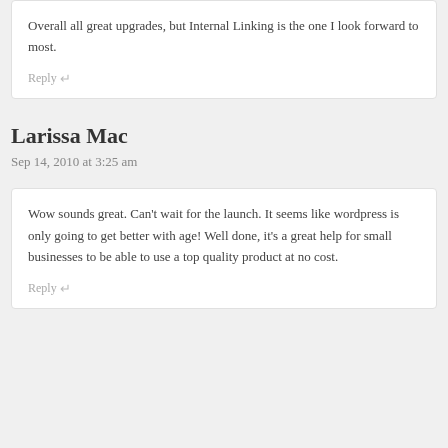Overall all great upgrades, but Internal Linking is the one I look forward to most.
Reply
Larissa Mac
Sep 14, 2010 at 3:25 am
Wow sounds great. Can't wait for the launch. It seems like wordpress is only going to get better with age! Well done, it's a great help for small businesses to be able to use a top quality product at no cost.
Reply